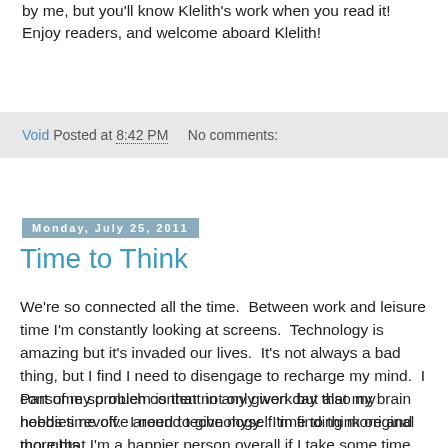by me, but you'll know Klelith's work when you read it! Enjoy readers, and welcome aboard Klelith!
Void Posted at 8:42 PM    No comments:
Monday, July 25, 2011
Time to Think
We're so connected all the time.  Between work and leisure time I'm constantly looking at screens.  Technology is amazing but it's invaded our lives.  It's not always a bad thing, but I find I need to disengage to recharge my mind.  I consume so much content in any given day that my brain needs time off.  I need to give myself time to think original thoughts.
Part of my problem is that not only work but also my hobbies revolve around technology.  I'm finding more and more that I'm a happier person overall if I take some time each day to be quiet.  Sometimes I just sit and think, but even more fun is playing with my daughter on the floor, talking to my